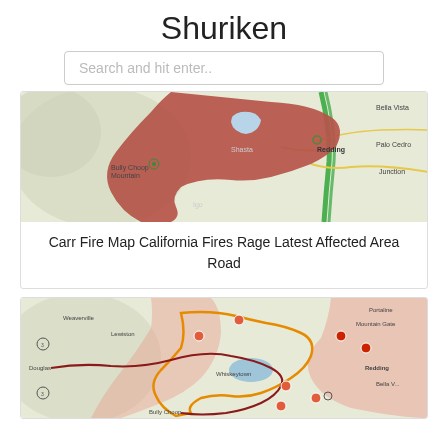Shuriken
Search and hit enter..
[Figure (map): Map of California showing Carr Fire affected area near Redding, with a large dark red/brown shaded region indicating the fire perimeter. Terrain map with roads and place labels including Bella Vista, Palo Cedro, Junction, Igo, Shasta, Bully Choop Mountain.]
Carr Fire Map California Fires Rage Latest Affected Area Road
[Figure (map): Map showing a wider view of the Carr Fire area near Redding California with orange perimeter lines, red fire boundary lines, orange location markers, pink/salmon shaded evacuation zones, and water features. Labels include Weaverville, Douglas City, Lewiston, Whiskeytown, Redding, Bella Vista, Palo Cedro, Mountain Gate, Portaline, Bully Choop.]